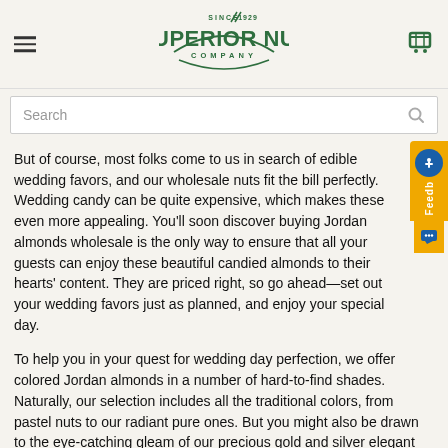Superior Nut Company — Since 1929
But of course, most folks come to us in search of edible wedding favors, and our wholesale nuts fit the bill perfectly. Wedding candy can be quite expensive, which makes these even more appealing. You'll soon discover buying Jordan almonds wholesale is the only way to ensure that all your guests can enjoy these beautiful candied almonds to their hearts' content. They are priced right, so go ahead—set out your wedding favors just as planned, and enjoy your special day.
To help you in your quest for wedding day perfection, we offer colored Jordan almonds in a number of hard-to-find shades. Naturally, our selection includes all the traditional colors, from pastel nuts to our radiant pure ones. But you might also be drawn to the eye-catching gleam of our precious gold and silver elegant and formal! Whatever your wedding theme, we have the candy to match it. Choose from Jordan